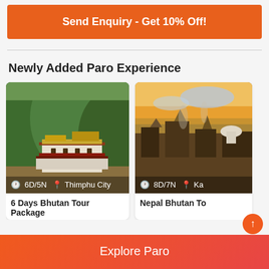Send Enquiry - Get 10% Off!
Newly Added Paro Experience
[Figure (photo): Bhutan monastery/dzong surrounded by forested hills with 6D/5N Thimphu City overlay]
6 Days Bhutan Tour Package
[Figure (photo): Nepal Bhutan urban scene at dusk with 8D/7N Ka... overlay (partially visible)]
Nepal Bhutan To
Explore Paro